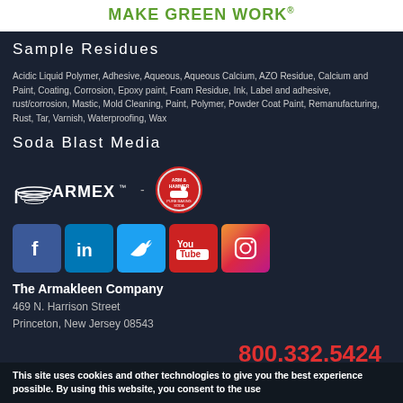MAKE GREEN WORK
Sample Residues
Acidic Liquid Polymer, Adhesive, Aqueous, Aqueous Calcium, AZO Residue, Calcium and Paint, Coating, Corrosion, Epoxy paint, Foam Residue, Ink, Label and adhesive, rust/corrosion, Mastic, Mold Cleaning, Paint, Polymer, Powder Coat Paint, Remanufacturing, Rust, Tar, Varnish, Waterproofing, Wax
Soda Blast Media
[Figure (logo): Armex and Arm & Hammer logos]
[Figure (infographic): Social media icons: Facebook, LinkedIn, Twitter, YouTube, Instagram]
The Armakleen Company
469 N. Harrison Street
Princeton, New Jersey 08543
800.332.5424
© 2022 The Armakleen Company. All rights reserved. Privacy
This site uses cookies and other technologies to give you the best experience possible. By using this website, you consent to the use